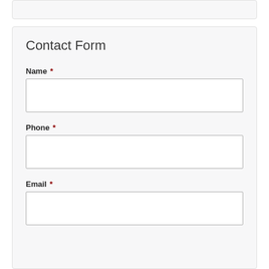Contact Form
Name *
Phone *
Email *